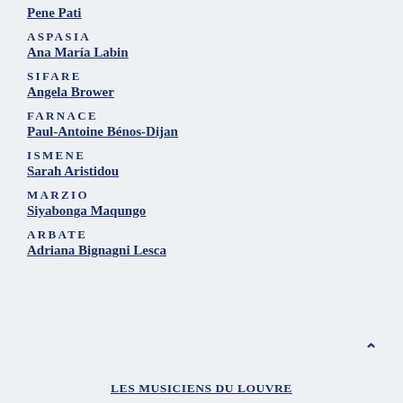Pene Pati
ASPASIA
Ana María Labin
SIFARE
Angela Brower
FARNACE
Paul-Antoine Bénos-Dijan
ISMENE
Sarah Aristidou
MARZIO
Siyabonga Maqungo
ARBATE
Adriana Bignagni Lesca
LES MUSICIENS DU LOUVRE